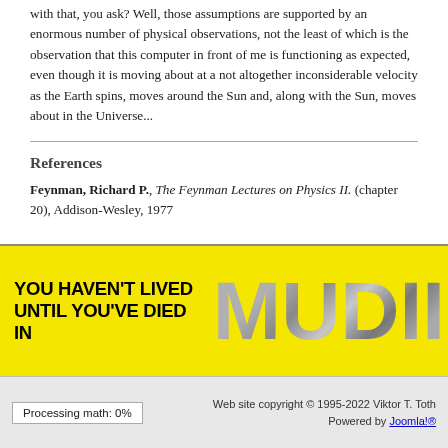with that, you ask? Well, those assumptions are supported by an enormous number of physical observations, not the least of which is the observation that this computer in front of me is functioning as expected, even though it is moving about at a not altogether inconsiderable velocity as the Earth spins, moves around the Sun and, along with the Sun, moves about in the Universe...
References
Feynman, Richard P., The Feynman Lectures on Physics II. (chapter 20), Addison-Wesley, 1977
[Figure (illustration): Yellow and grey banner advertisement reading 'YOU HAVEN'T LIVED UNTIL YOU'VE DIED IN MUDII' with large metallic grey 'MUDII' text on yellow background.]
Processing math: 0%    Web site copyright © 1995-2022 Viktor T. Toth Powered by Joomla!®